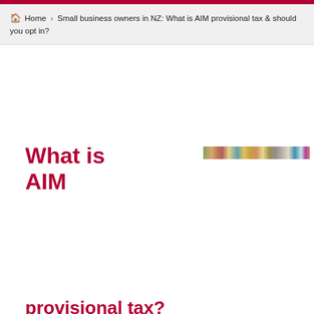🏠 Home > Small business owners in NZ: What is AIM provisional tax & should you opt in?
What is AIM
[Figure (photo): A narrow horizontal banner image showing a collage of colorful people or products, cropped tightly.]
provisional tax?